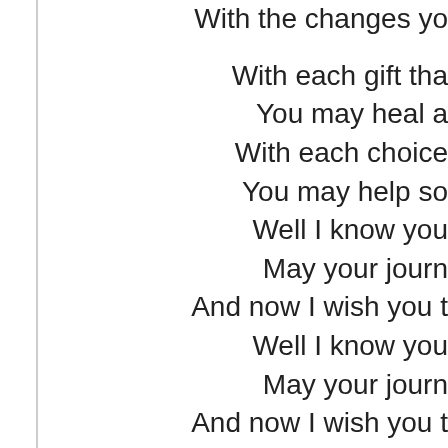With the changes yo...
With each gift tha...
You may heal a...
With each choice...
You may help som...
Well I know you...
May your journ...
And now I wish you t...
Well I know you...
May your journ...
And now I wish you t...
CHORU...
You know some people they...
No I just won't u...
These thi...
Thank you for your message...
No I just won't u...